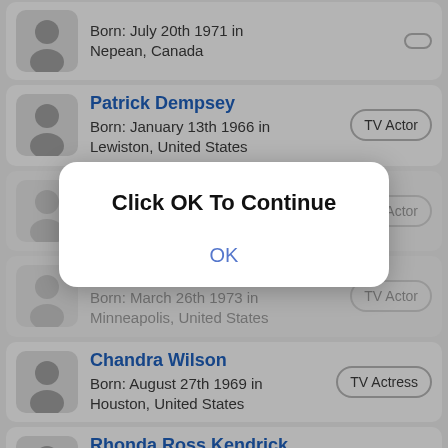Born: July 20th 1971 in Nepean, Canada
Patrick Dempsey | TV Actor | Born: January 13th 1966 in Lewiston, United States
Justin Chambers | TV Actor | Born: July 11th 1970 in Springfield (partial, overlaid)
T R Knight | TV Actor | Born: March 26th 1973 in Minneapolis, United States (partial, overlaid)
Chandra Wilson | TV Actress | Born: August 27th 1969 in Houston, United States
Rhonda Ross Kendrick | TV Actress | Born: August 14th 1971 in Los Angeles, United States
[Figure (screenshot): Modal dialog overlay with text 'Click OK To Continue' and an OK button]